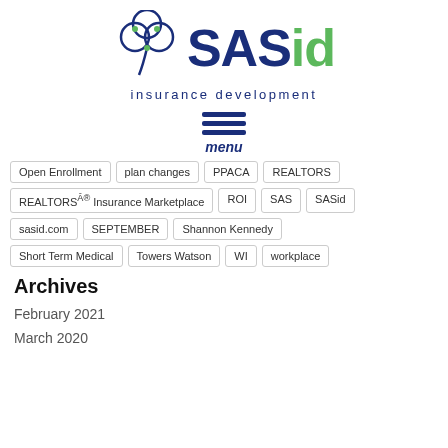[Figure (logo): SASid insurance development logo with shamrock/clover icon on the left and SASid text (SAS in dark blue, id in green) with 'insurance development' tagline below]
[Figure (other): Hamburger menu icon with three horizontal dark blue lines and 'menu' label in italic dark blue text below]
Open Enrollment
plan changes
PPACA
REALTORS
REALTORS® Insurance Marketplace
ROI
SAS
SASid
sasid.com
SEPTEMBER
Shannon Kennedy
Short Term Medical
Towers Watson
WI
workplace
Archives
February 2021
March 2020